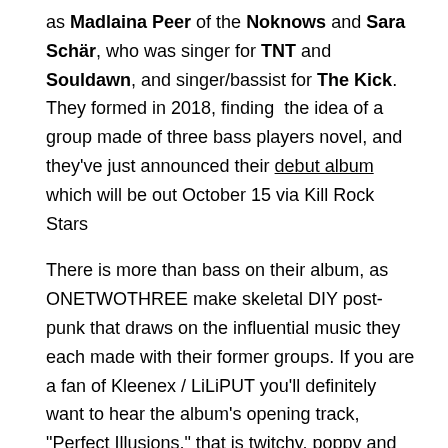as Madlaina Peer of the Noknows and Sara Schär, who was singer for TNT and Souldawn, and singer/bassist for The Kick. They formed in 2018, finding the idea of a group made of three bass players novel, and they've just announced their debut album which will be out October 15 via Kill Rock Stars

There is more than bass on their album, as ONETWOTHREE make skeletal DIY post-punk that draws on the influential music they each made with their former groups. If you are a fan of Kleenex / LiLiPUT you'll definitely want to hear the album's opening track, "Perfect Illusions," that is twitchy, poppy and danceable. Bill Paris via Brooklyn Vegan